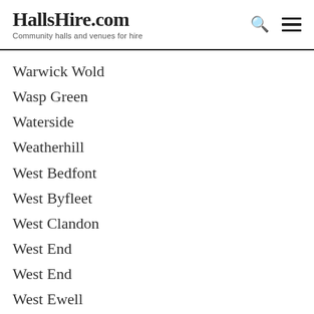HallsHire.com — Community halls and venues for hire
Warwick Wold
Wasp Green
Waterside
Weatherhill
West Bedfont
West Byfleet
West Clandon
West End
West End
West Ewell
West Horsley
West Molesey
Westbrook
Westcott
Westfield
Westhumble